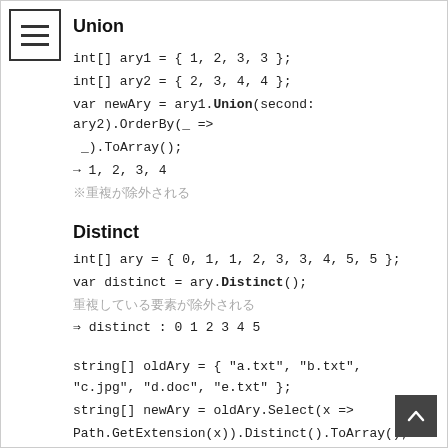Union
int[] ary1 = { 1, 2, 3, 3 };
int[] ary2 = { 2, 3, 4, 4 };
var newAry = ary1.Union(second: ary2).OrderBy(_ => _).ToArray();
→ 1, 2, 3, 4
※重複が除外される
Distinct
int[] ary = { 0, 1, 1, 2, 3, 3, 4, 5, 5 };
var distinct = ary.Distinct();
重複している要素が除外される
⇒ distinct : 0 1 2 3 4 5
string[] oldAry = { "a.txt", "b.txt", "c.jpg", "d.doc", "e.txt" };
string[] newAry = oldAry.Select(x => Path.GetExtension(x)).Distinct().ToArray();
newAry：txt jpg doc